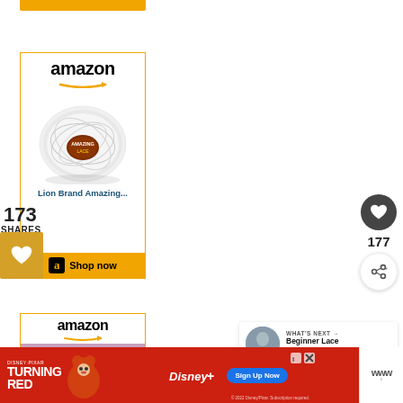[Figure (screenshot): Amazon advertisement card showing a white yarn ball product labeled 'Amazing Lace' with Amazon logo and 'Shop now' button on yellow bar]
173
SHARES
[Figure (screenshot): Heart/like button icon on orange background]
[Figure (screenshot): Right sidebar with heart icon circle, count 177, and share icon circle]
177
[Figure (screenshot): What's Next panel with thumbnail and text 'Beginner Lace Crochet...']
WHAT'S NEXT → Beginner Lace Crochet...
[Figure (screenshot): Second Amazon advertisement card showing a purple yarn product]
[Figure (screenshot): Bottom banner advertisement for Disney+ Turning Red movie with 'Sign Up Now' button]